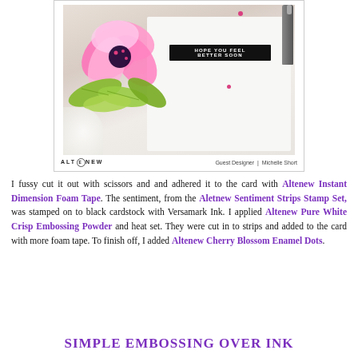[Figure (photo): A handmade greeting card with a pink flower and green leaves, with a black sentiment strip reading 'HOPE YOU FEEL BETTER SOON', placed on a wooden surface. Altenew logo and 'Guest Designer | Michelle Short' shown below.]
I fussy cut it out with scissors and and adhered it to the card with Altenew Instant Dimension Foam Tape. The sentiment, from the Aletnew Sentiment Strips Stamp Set, was stamped on to black cardstock with Versamark Ink. I applied Altenew Pure White Crisp Embossing Powder and heat set. They were cut in to strips and added to the card with more foam tape. To finish off, I added Altenew Cherry Blossom Enamel Dots.
SIMPLE EMBOSSING OVER INK